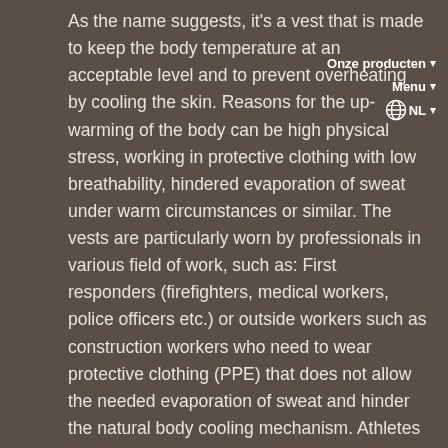As the name suggests, it's a vest that is made to keep the body temperature at an acceptable level and to prevent overheating by cooling the skin. Reasons for the up-warming of the body can be high physical stress, working in protective clothing with low breathability, hindered evaporation of sweat under warm circumstances or similar. The vests are particularly worn by professionals in various field of work, such as: First responders (firefighters, medical workers, police officers etc.) or outside workers such as construction workers who need to wear protective clothing (PPE) that does not allow the needed evaporation of sweat and hinder the natural body cooling mechanism. Athletes tend to use body cooling to reduce the core body temperature and ensure longer lasting performance by this.
Onze producten · Menu · NL